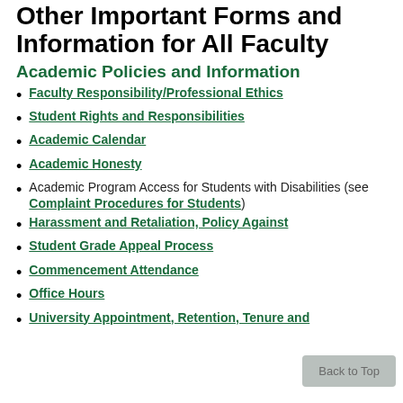Other Important Forms and Information for All Faculty
Academic Policies and Information
Faculty Responsibility/Professional Ethics
Student Rights and Responsibilities
Academic Calendar
Academic Honesty
Academic Program Access for Students with Disabilities (see Complaint Procedures for Students)
Harassment and Retaliation, Policy Against
Student Grade Appeal Process
Commencement Attendance
Office Hours
University Appointment, Retention, Tenure and